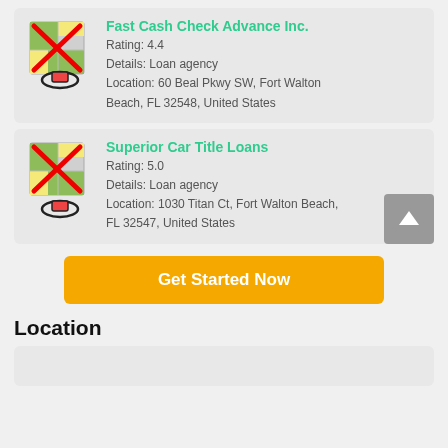[Figure (infographic): Map icon with red X cross overlay and location pin, for Fast Cash Check Advance Inc.]
Fast Cash Check Advance Inc.
Rating: 4.4
Details: Loan agency
Location: 60 Beal Pkwy SW, Fort Walton Beach, FL 32548, United States
[Figure (infographic): Map icon with red X cross overlay and location pin, for Superior Car Title Loans]
Superior Car Title Loans
Rating: 5.0
Details: Loan agency
Location: 1030 Titan Ct, Fort Walton Beach, FL 32547, United States
Get Started Now
Location